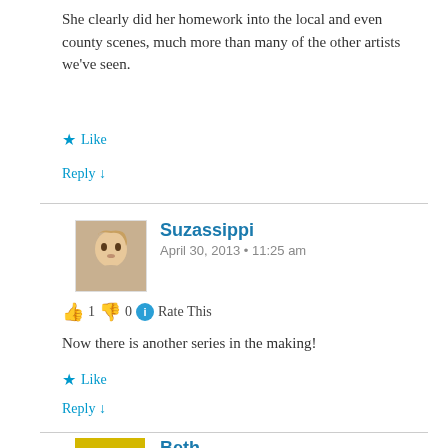She clearly did her homework into the local and even county scenes, much more than many of the other artists we've seen.
★ Like
Reply ↓
Suzassippi
April 30, 2013 • 11:25 am
👍 1 👎 0 ℹ Rate This
Now there is another series in the making!
★ Like
Reply ↓
Beth
April 30, 2013 • 5:22 pm